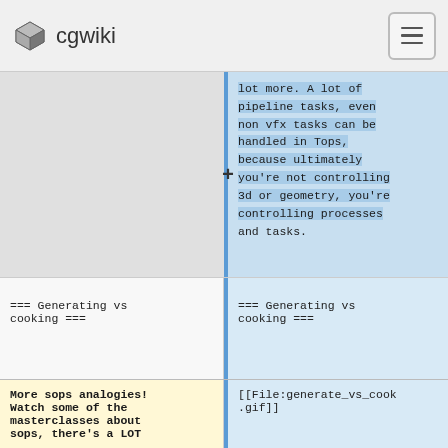cgwiki
lot more. A lot of pipeline tasks, even non vfx tasks can be handled in Tops, because ultimately you're not controlling 3d or geometry, you're controlling processes and tasks.
=== Generating vs cooking ===
=== Generating vs cooking ===
More sops analogies! Watch some of the masterclasses about sops, there's a LOT
[[File:generate_vs_cook.gif]]